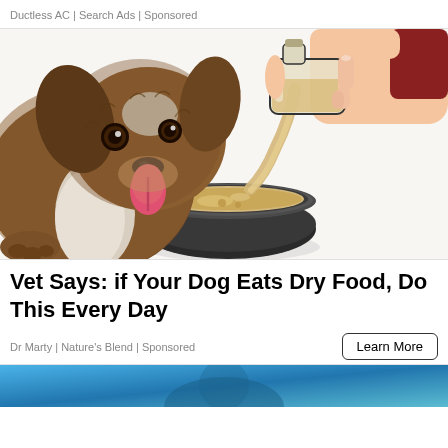Ductless AC | Search Ads | Sponsored
[Figure (illustration): Illustrated image of a fluffy brown and white dog looking at a bowl while a hand pours liquid from a glass bottle into the bowl]
Vet Says: if Your Dog Eats Dry Food, Do This Every Day
Dr Marty | Nature's Blend | Sponsored
[Figure (photo): Bottom teaser image with blue background, partially visible]